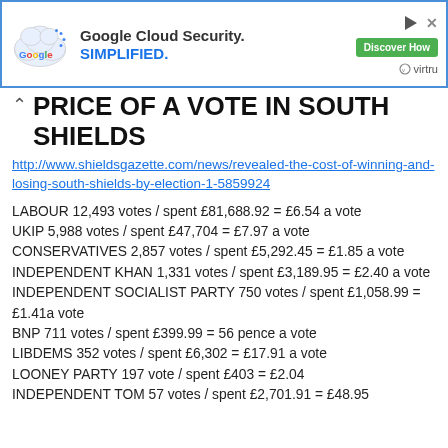[Figure (screenshot): Google Cloud Security advertisement banner with Google logo, cloud graphic, text 'Google Cloud Security. SIMPLIFIED.', a green 'Discover How' button, Virtru logo, play button icon, and close button.]
PRICE OF A VOTE IN SOUTH SHIELDS
http://www.shieldsgazette.com/news/revealed-the-cost-of-winning-and-losing-south-shields-by-election-1-5859924
LABOUR 12,493 votes / spent £81,688.92 = £6.54 a vote
UKIP 5,988 votes / spent £47,704 = £7.97 a vote
CONSERVATIVES 2,857 votes / spent £5,292.45 = £1.85 a vote
INDEPENDENT KHAN 1,331 votes / spent £3,189.95 = £2.40 a vote
INDEPENDENT SOCIALIST PARTY 750 votes / spent £1,058.99 = £1.41a vote
BNP 711 votes / spent £399.99 = 56 pence a vote
LIBDEMS 352 votes / spent £6,302 = £17.91 a vote
LOONEY PARTY 197 vote / spent £403 = £2.04
INDEPENDENT TOM 57 votes / spent £2,701.91 = £48.95